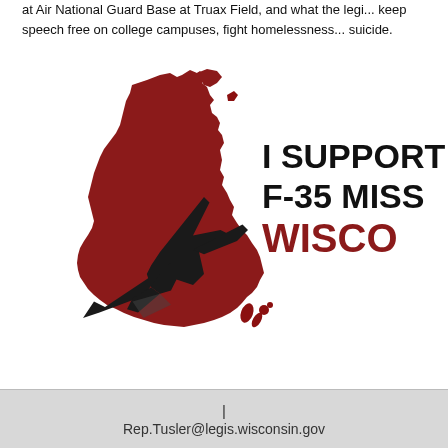at Air National Guard Base at Truax Field, and what the legi... keep speech free on college campuses, fight homelessness... suicide.
[Figure (illustration): Graphic showing the outline of Wisconsin state in dark red with a black F-35 fighter jet silhouette overlaid. Text reads 'I SUPPORT F-35 MISS[ION] WISCO[NSIN]' in bold black and dark red lettering.]
| Rep.Tusler@legis.wisconsin.gov